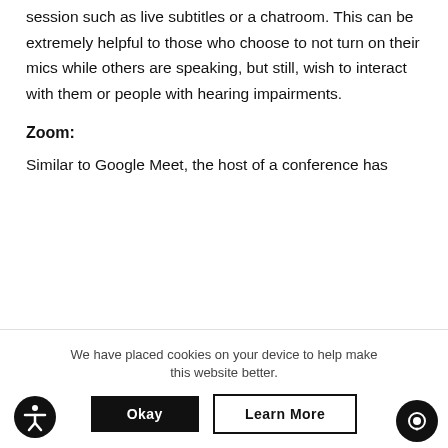session such as live subtitles or a chatroom. This can be extremely helpful to those who choose to not turn on their mics while others are speaking, but still, wish to interact with them or people with hearing impairments.
Zoom:
Similar to Google Meet, the host of a conference has
We have placed cookies on your device to help make this website better.
Okay
Learn More